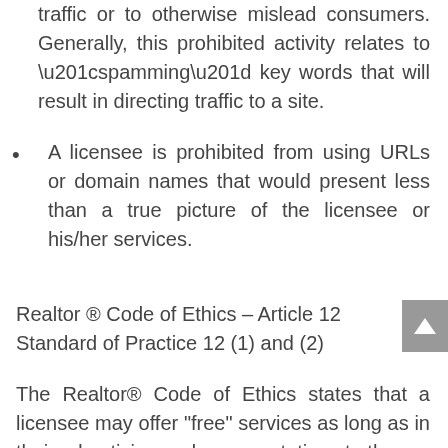traffic or to otherwise mislead consumers. Generally, this prohibited activity relates to “spamming” key words that will result in directing traffic to a site.
A licensee is prohibited from using URLs or domain names that would present less than a true picture of the licensee or his/her services.
Realtor ® Code of Ethics – Article 12 Standard of Practice 12 (1) and (2)
The Realtor® Code of Ethics states that a licensee may offer “free” services as long as in their advertising and representations to the